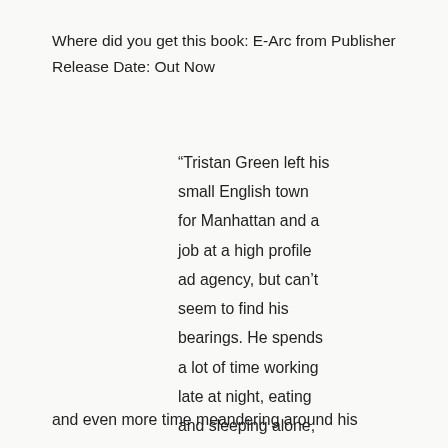Where did you get this book: E-Arc from Publisher
Release Date: Out Now
“Tristan Green left his small English town for Manhattan and a job at a high profile ad agency, but can’t seem to find his bearings. He spends a lot of time working late at night, eating and sleeping alone, and even more time meandering around his